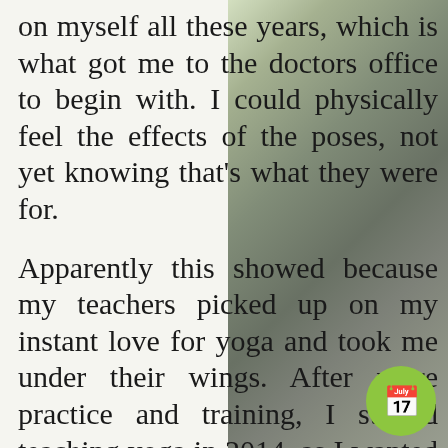on myself all these years, which is what got me to the doctors office to begin with. I could physically feel the effects of the poses, not yet knowing that's what they were for.
Apparently this showed because my teachers picked up on my instant love for yoga and took me under their wings. After more practice and training, I started teaching yoga in 2014, as I wanted to give to others what I had been so blessed to receive. I loved it,